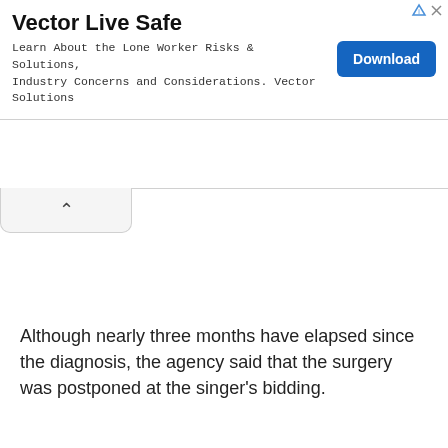[Figure (screenshot): Advertisement banner for Vector Live Safe. Bold title 'Vector Live Safe', body text 'Learn About the Lone Worker Risks & Solutions, Industry Concerns and Considerations. Vector Solutions', and a blue Download button. Small ad icons in top right corner.]
Although nearly three months have elapsed since the diagnosis, the agency said that the surgery was postponed at the singer's bidding.